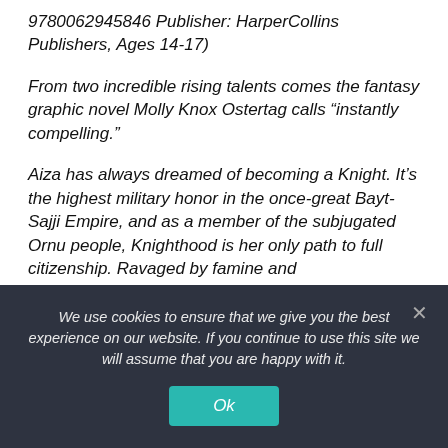9780062945846 Publisher: HarperCollins Publishers, Ages 14-17)
From two incredible rising talents comes the fantasy graphic novel Molly Knox Ostertag calls “instantly compelling.”
Aiza has always dreamed of becoming a Knight. It’s the highest military honor in the once-great Bayt-Sajji Empire, and as a member of the subjugated Ornu people, Knighthood is her only path to full citizenship. Ravaged by famine and
We use cookies to ensure that we give you the best experience on our website. If you continue to use this site we will assume that you are happy with it.